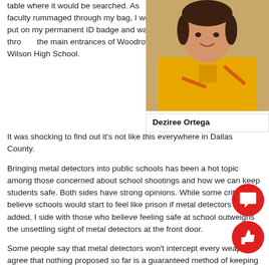table where it would be searched. As faculty rummaged through my bag, I would put on my permanent ID badge and walk through the main entrances of Woodrow Wilson High School.
[Figure (photo): Photo of Deziree Ortega wearing a yellow long-sleeve shirt, smiling, shown from shoulders up against a beige background.]
Deziree Ortega
It was shocking to find out it's not like this everywhere in Dallas County.
Bringing metal detectors into public schools has been a hot topic among those concerned about school shootings and how we can keep students safe. Both sides have strong opinions. While some critics believe schools would start to feel like prison if metal detectors are added, I side with those who believe feeling safe at school outweighs the unsettling sight of metal detectors at the front door.
Some people say that metal detectors won't intercept every weapon. I agree that nothing proposed so far is a guaranteed method of keeping children safe, but proper security measures are a start. In a perfect world, no one would harm one another and all kids would just get along, but— to be blunt— that's just not going to happen. We live in a country where schools shootings are no longer a rare occurrence.